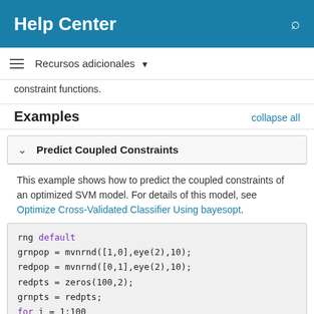Help Center
Recursos adicionales
constraint functions.
Examples
Predict Coupled Constraints
This example shows how to predict the coupled constraints of an optimized SVM model. For details of this model, see Optimize Cross-Validated Classifier Using bayesopt.
rng default
grnpop = mvnrnd([1,0],eye(2),10);
redpop = mvnrnd([0,1],eye(2),10);
redpts = zeros(100,2);
grnpts = redpts;
for i = 1:100
    grnpts(i,:) = mvnrnd(grnpop(randi(10),
    redpts(i,:) = mvnrnd(redpop(randi(10),